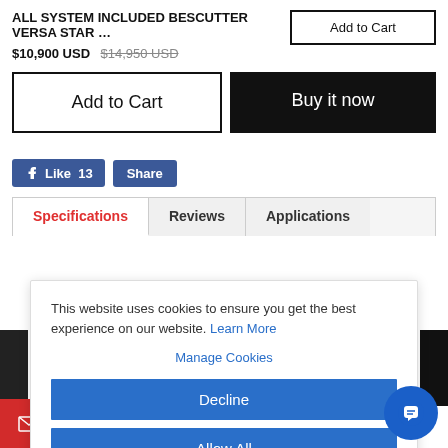ALL SYSTEM INCLUDED BESCUTTER VERSA STAR ...
$10,900 USD  $14,950 USD
Add to Cart
Add to Cart
Buy it now
Like 13  Share
Specifications  Reviews  Applications
This website uses cookies to ensure you get the best experience on our website. Learn More
Manage Cookies
Decline
Allow All
×
Email or Call (888)525-2897